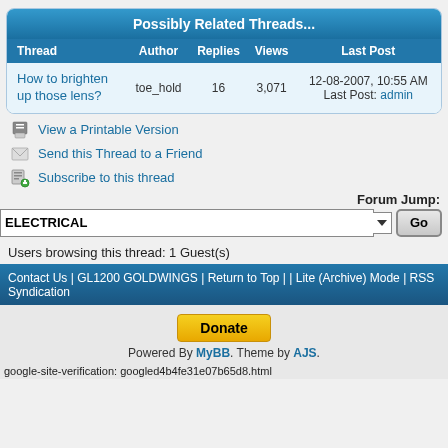| Thread | Author | Replies | Views | Last Post |
| --- | --- | --- | --- | --- |
| How to brighten up those lens? | toe_hold | 16 | 3,071 | 12-08-2007, 10:55 AM
Last Post: admin |
View a Printable Version
Send this Thread to a Friend
Subscribe to this thread
Forum Jump:
ELECTRICAL
Users browsing this thread: 1 Guest(s)
Contact Us | GL1200 GOLDWINGS | Return to Top | | Lite (Archive) Mode | RSS Syndication
Donate
Powered By MyBB. Theme by AJS.
google-site-verification: googled4b4fe31e07b65d8.html